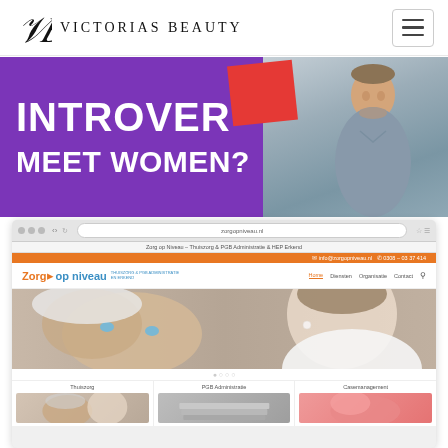Victorias Beauty
[Figure (screenshot): Banner advertisement with purple background, bold white text reading 'INTROVER' and 'MEET WOMEN?' with a red accent shape and a photo of a man in a grey shirt]
[Figure (screenshot): Browser screenshot of 'Zorg op niveau' website showing navigation with Home, Diensten, Organisatie, Contact links, a hero image of an elderly woman with a younger woman, and service sections for Thuiszorg, PGB Administratie, and Casemanagement]